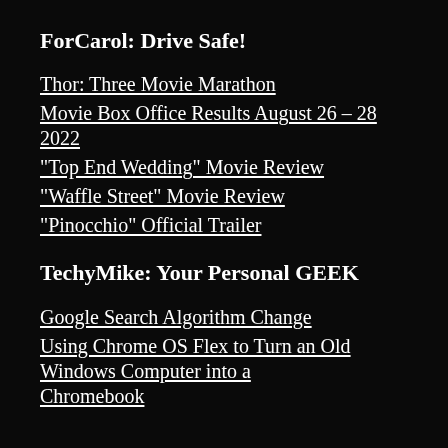ForCarol: Drive Safe!
Thor: Three Movie Marathon
Movie Box Office Results August 26 – 28 2022
“Top End Wedding” Movie Review
“Waffle Street” Movie Review
“Pinocchio” Official Trailer
TechyMike: Your Personal GEEK
Google Search Algorithm Change
Using Chrome OS Flex to Turn an Old Windows Computer into a Chromebook